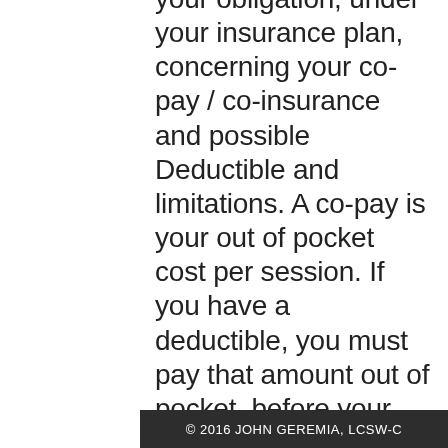your obligation, under your insurance plan, concerning your co-pay / co-insurance and possible Deductible and limitations. A co-pay is your out of pocket cost per session. If you have a deductible, you must pay that amount out of pocket, before your insurance company will cover any medical expense. For example, a deductible of $300.00 means you must pay the first $300.00 of any medical expense. Once you have met your deductible, then you are only responsible for the co-pay. You will also need to verify if your policy has any visit limitations. Some insurance plans will only allow a certain number of visits per calendar / policy year.
© 2016 JOHN GEREMIA, LCSW-C